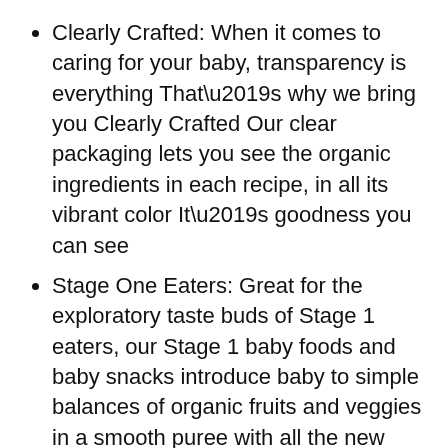Clearly Crafted: When it comes to caring for your baby, transparency is everything That’s why we bring you Clearly Crafted Our clear packaging lets you see the organic ingredients in each recipe, in all its vibrant color It’s goodness you can see
Stage One Eaters: Great for the exploratory taste buds of Stage 1 eaters, our Stage 1 baby foods and baby snacks introduce baby to simple balances of organic fruits and veggies in a smooth puree with all the new flavors your baby is learning to love
Happy Baby: We provide organic, delicious options for your baby’s nutritional journey; Happy Baby offers baby food and snacks that are